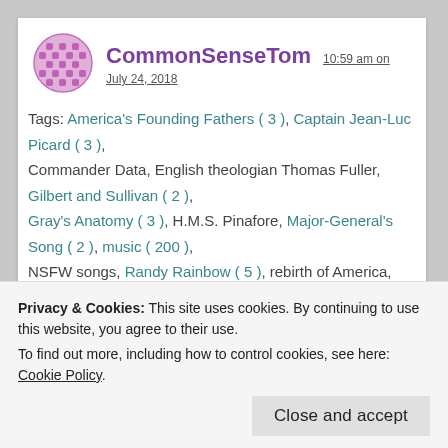CommonSenseTom 10:59 am on July 24, 2018
Tags: America's Founding Fathers ( 3 ), Captain Jean-Luc Picard ( 3 ), Commander Data, English theologian Thomas Fuller, Gilbert and Sullivan ( 2 ), Gray's Anatomy ( 3 ), H.M.S. Pinafore, Major-General's Song ( 2 ), music ( 200 ), NSFW songs, Randy Rainbow ( 5 ), rebirth of America, Star Trek Insurrection, The darkest hour is just before the dawn ( 2 ), The Pirates of Penzance ( 2 ), the sky's the limit, Thomas Fuller, Tom Lehrer, Tom Lehrer's The Elements, Vid of the Day ( 198 ), YouTube's Randy Rainbow
Privacy & Cookies: This site uses cookies. By continuing to use this website, you agree to their use.
To find out more, including how to control cookies, see here: Cookie Policy
Close and accept